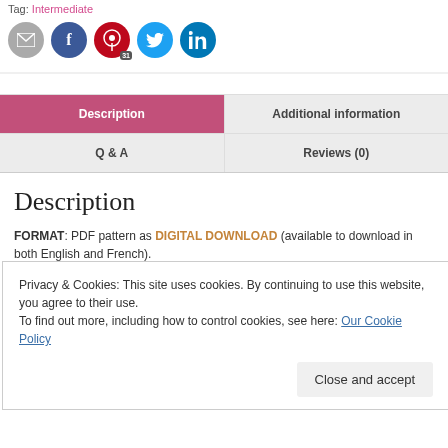Tag: Intermediate
[Figure (illustration): Social share icons: email (grey circle), Facebook (blue circle), Pinterest (red circle with badge 31), Twitter (teal circle), LinkedIn (teal circle)]
Description
Additional information
Q & A
Reviews (0)
Description
FORMAT: PDF pattern as DIGITAL DOWNLOAD (available to download in both English and French).
Privacy & Cookies: This site uses cookies. By continuing to use this website, you agree to their use.
To find out more, including how to control cookies, see here: Our Cookie Policy
DMC threads